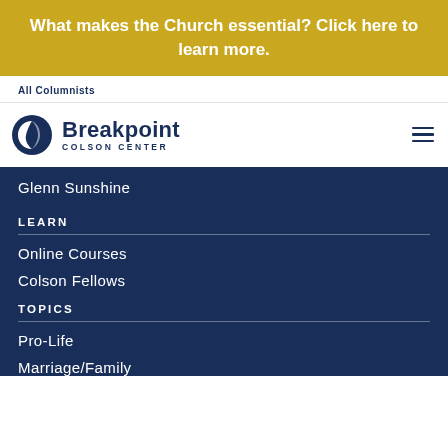What makes the Church essential? Click here to learn more.
All Columnists
[Figure (logo): Breakpoint Colson Center logo with circular icon and text]
Glenn Sunshine
LEARN
Online Courses
Colson Fellows
TOPICS
Pro-Life
Marriage/Family